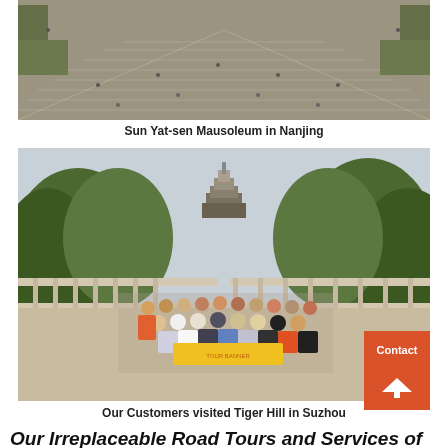[Figure (photo): Aerial/wide view of Sun Yat-sen Mausoleum steps in Nanjing with many visitors climbing the grand staircase]
Sun Yat-sen Mausoleum in Nanjing
[Figure (photo): Group of tourists standing on a stone bridge at Tiger Hill in Suzhou, holding a yellow banner, with a pagoda and trees in the background]
Our Customers visited Tiger Hill in Suzhou
Our Irreplaceable Road Tours and Services of Our...